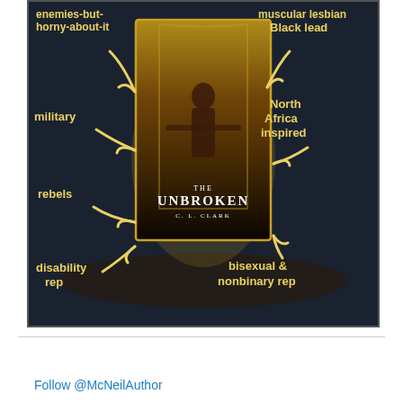[Figure (infographic): Book cover infographic for 'The Unbroken' by C. L. Clark, showing the book cover in the center surrounded by labeled arrows pointing to it: 'enemies-but-horny-about-it', 'muscular lesbian Black lead', 'military', 'North Africa inspired', 'rebels', 'bisexual & nonbinary rep', 'disability rep'. Labels are in gold/yellow text on a dark background with gold curved arrows.]
Follow @McNeilAuthor